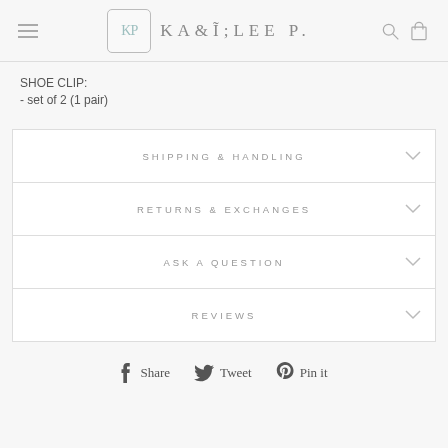KP KAILEE P. [navigation header with logo, search and cart icons]
SHOE CLIP:
- set of 2 (1 pair)
SHIPPING & HANDLING
RETURNS & EXCHANGES
ASK A QUESTION
REVIEWS
Share   Tweet   Pin it